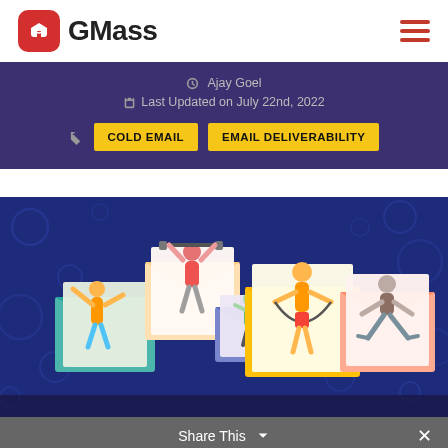GMass
Ajay Goel
Last Updated on July 22nd, 2022
COLD EMAIL
EMAIL DELIVERABILITY
[Figure (illustration): Colorful illustration of animated people exercising emerging from open envelopes against a dark blue background with bubble/circle patterns]
Share This